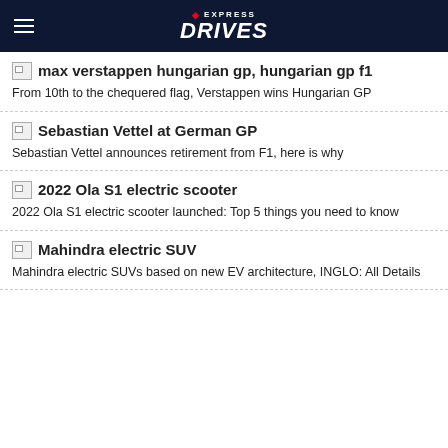EXPRESS DRIVES
[Figure (photo): Broken image placeholder: max verstappen hungarian gp, hungarian gp f1]
From 10th to the chequered flag, Verstappen wins Hungarian GP
[Figure (photo): Broken image placeholder: Sebastian Vettel at German GP]
Sebastian Vettel announces retirement from F1, here is why
[Figure (photo): Broken image placeholder: 2022 Ola S1 electric scooter]
2022 Ola S1 electric scooter launched: Top 5 things you need to know
[Figure (photo): Broken image placeholder: Mahindra electric SUV]
Mahindra electric SUVs based on new EV architecture, INGLO: All Details